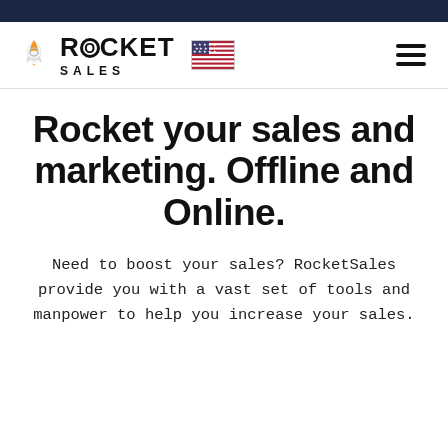[Figure (logo): Rocket Sales logo with rocket icon, the text ROCKET SALES, a US flag icon, and a hamburger menu icon]
Rocket your sales and marketing. Offline and Online.
Need to boost your sales? RocketSales provide you with a vast set of tools and manpower to help you increase your sales.